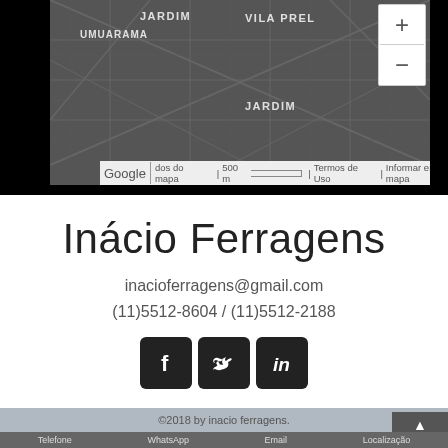[Figure (map): Google Maps screenshot showing a dark-themed street map with neighborhood labels: JARDIM, UMUARAMA, VILA PREL, with zoom controls and Google branding. Scale bar shows 500m. Footer bar reads: dos do mapa | 500 m | Termos de Uso | Informar erro no mapa]
Inácio Ferragens
inacioferragens@gmail.com
(11)5512-8604 / (11)5512-2188
[Figure (other): Social media icons: Facebook, Twitter, LinkedIn — rounded square black icons]
©2018 by inacio ferragens.
Telefone   WhatsApp   Email   Localização